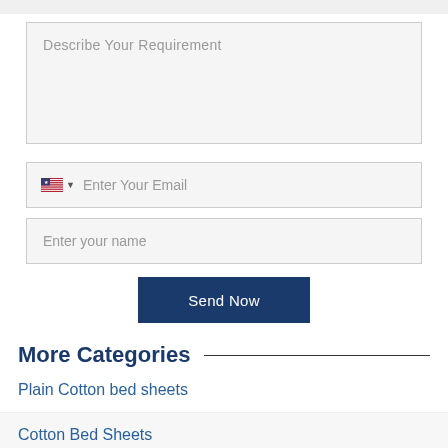Describe Your Requirement
Enter Your Email
Enter your name
Send Now
More Categories
Plain Cotton bed sheets
Cotton Bed Sheets